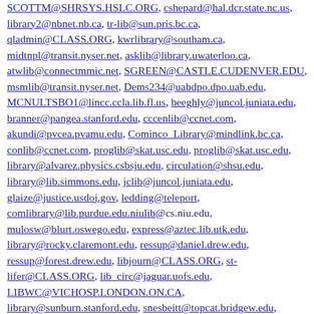SCOTTM@SHRSYS.HSLC.ORG, cshepard@hal.dcr.state.nc.us, library2@nbnet.nb.ca, tr-lib@sun.pris.bc.ca, qladmin@CLASS.ORG, kwrlibrary@southam.ca, midtnpl@transit.nyser.net, asklib@library.uwaterloo.ca, atwlib@connectmmic.net, SGREEN@CASTLE.CUDENVER.EDU, msmlib@transit.nyser.net, Dems234@uabdpo.dpo.uab.edu, MCNULTSBO1@lincc.ccla.lib.fl.us, beeghly@juncol.juniata.edu, branner@pangea.stanford.edu, cccenlib@ccnet.com, akundi@pvcea.pvamu.edu, Cominco_Library@mindlink.bc.ca, conlib@ccnet.com, proglib@skat.usc.edu, proglib@skat.usc.edu, library@alvarez.physics.csbsju.edu, circulation@shsu.edu, library@lib.simmons.edu, jclib@juncol.juniata.edu, glaize@justice.usdoj.gov, ledding@teleport, comlibrary@lib.purdue.edu.niulib@cs.niu.edu, mulosw@blurt.oswego.edu, express@aztec.lib.utk.edu, library@rocky.claremont.edu, ressup@daniel.drew.edu, ressup@forest.drew.edu, libjourn@CLASS.ORG, st-lifer@CLASS.ORG, lib_circ@jaguar.uofs.edu, LIBWC@VICHOSP.LONDON.ON.CA, library@sunburn.stanford.edu, snesbeitt@topcat.bridgew.edu, temp@scilibx.ucsc.edu, medchi@access1.digex.net, medchi@ACCESS.DIGEX.NET, knoxlib@KNOX.E-